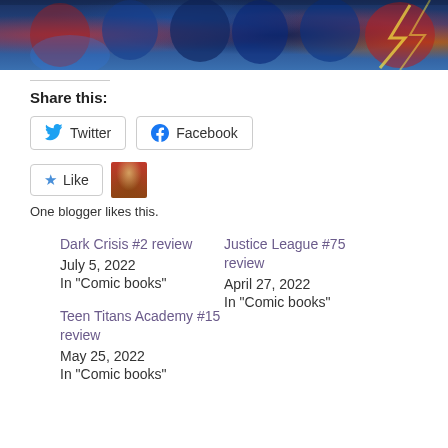[Figure (illustration): Comic book artwork showing multiple DC Comics superheroes including characters in blue and red costumes, Nightwing, and The Flash against a colorful action background]
Share this:
Twitter  Facebook
Like  [blogger avatar]
One blogger likes this.
Dark Crisis #2 review
July 5, 2022
In "Comic books"
Justice League #75 review
April 27, 2022
In "Comic books"
Teen Titans Academy #15 review
May 25, 2022
In "Comic books"